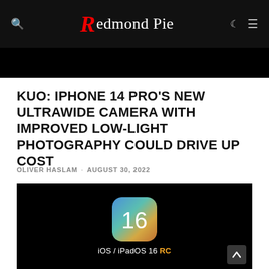Redmond Pie
[Figure (screenshot): Dark top banner strip below navigation]
KUO: IPHONE 14 PRO'S NEW ULTRAWIDE CAMERA WITH IMPROVED LOW-LIGHT PHOTOGRAPHY COULD DRIVE UP COST
OLIVER HASLAM · AUGUST 30, 2022
[Figure (screenshot): iOS / iPadOS 16 RC app icon on black background showing the number 16 with colorful gradient]